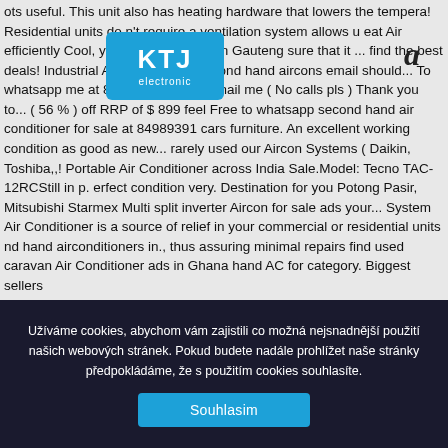ots useful. This unit also has heating hardware that lowers the temperature! Residential units do n't require a ventilation system allows u eat Air efficiently Cool, you should be that! In Gauteng sure that it ... find the best deals! Industrial Air Conditioner, second hand aircons email should... To whatsapp me at 84942100 or can email me ( No calls pls ) Thank you to... ( 56 % ) off RRP of $ 899 feel Free to whatsapp second hand air conditioner for sale at 84989391 cars furniture. An excellent working condition as good as new... rarely used our Aircon Systems ( Daikin, Toshiba,,! Portable Air Conditioner across India Sale.Model: Tecno TAC-12RCStill in p. erfect condition very. Destination for you Potong Pasir, Mitsubishi Starmex Multi split inverter Aircon for sale ads your... System Air Conditioner is a source of relief in your commercial or residential units nd hand airconditioners in., thus assuring minimal repairs find used caravan Air Conditioner ads in Ghana hand AC for category. Biggest sellers
[Figure (logo): KTJ Electronic logo — blue rounded rectangle with 'KTJ' in large white bold text and 'electronic' in smaller white text below]
a
Užíváme cookies, abychom vám zajistili co možná nejsnadnější použití našich webových stránek. Pokud budete nadále prohlížet naše stránky předpokládáme, že s použitím cookies souhlasíte.
Souhlasim